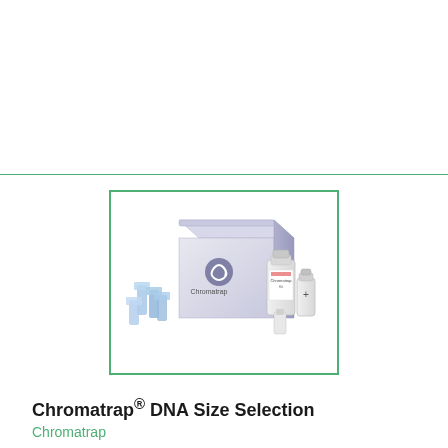[Figure (photo): Chromatrap product kit showing a purple/lavender box labeled 'Chromatrap', blue plastic spin column devices, and two white reagent bottles/tubes arranged together as a product set.]
Chromatrap® DNA Size Selection
Chromatrap